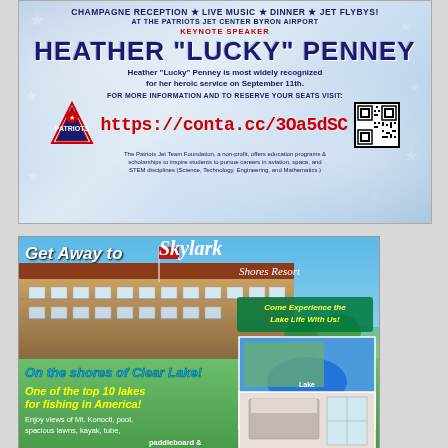[Figure (advertisement): Patriots Jet Team Foundation event advertisement featuring champagne reception, live music, dinner, and jet flybys at Patriots Jet Center Byron Airport. Keynote speaker Heather 'Lucky' Penney. Includes URL https://conta.cc/3Oa5dSC and QR code. Foundation logo on left. Text about Patriots Jet Team Foundation being a non-profit offering education programs and scholarships.]
[Figure (advertisement): Skylark Shores Resort advertisement with photo of hotel building and aerial lake view. Text: 'Get Away to Skylark Shores Resort', 'Come Experience the Lake Life With Us!', 'On the shores of Clear Lake!', 'One of the top 10 lakes for fishing in America!', 'Enjoy views of Mt. Konocti, pool, spacious lawns, kayak, tube, paddleboard &']